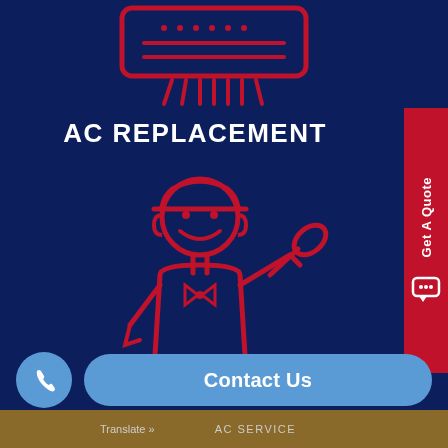[Figure (illustration): Red line-art icon of an air conditioning unit at top, showing rectangular unit with dots/lines pattern and fins below]
AC REPLACEMENT
[Figure (illustration): Red line-art icon of a smiling technician wearing a cap and holding a wrench]
Get A Quote
Contact Us
Translate »   AC SERVICE